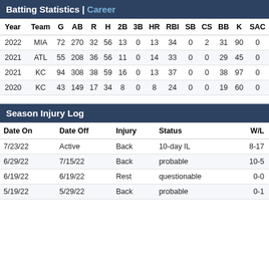Batting Statistics | Career
| Year | Team | G | AB | R | H | 2B | 3B | HR | RBI | SB | CS | BB | K | SAC |
| --- | --- | --- | --- | --- | --- | --- | --- | --- | --- | --- | --- | --- | --- | --- |
| 2022 | MIA | 72 | 270 | 32 | 56 | 13 | 0 | 13 | 34 | 0 | 2 | 31 | 90 | 0 |
| 2021 | ATL | 55 | 208 | 36 | 56 | 11 | 0 | 14 | 33 | 0 | 0 | 29 | 45 | 0 |
| 2021 | KC | 94 | 308 | 38 | 59 | 16 | 0 | 13 | 37 | 0 | 0 | 38 | 97 | 0 |
| 2020 | KC | 43 | 149 | 17 | 34 | 8 | 0 | 8 | 24 | 0 | 0 | 19 | 60 | 0 |
Season Injury Log
| Date On | Date Off | Injury | Status | W/L |
| --- | --- | --- | --- | --- |
| 7/23/22 | Active | Back | 10-day IL | 8-17 |
| 6/29/22 | 7/15/22 | Back | probable | 10-5 |
| 6/19/22 | 6/19/22 | Rest | questionable | 0-0 |
| 5/19/22 | 5/29/22 | Back | probable | 0-1 |